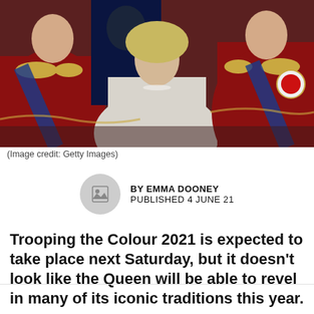[Figure (photo): Photo of the Queen and royal family members in red military uniforms with gold decorations at Trooping the Colour]
(Image credit: Getty Images)
BY EMMA DOONEY
PUBLISHED 4 JUNE 21
Trooping the Colour 2021 is expected to take place next Saturday, but it doesn't look like the Queen will be able to revel in many of its iconic traditions this year.